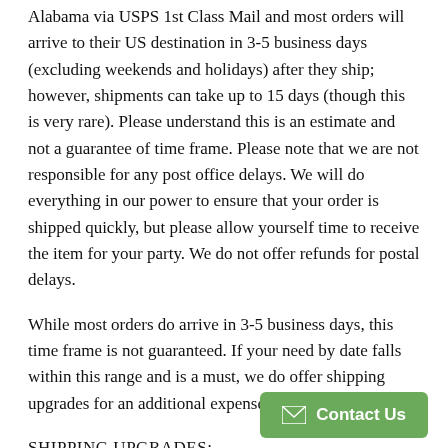Alabama via USPS 1st Class Mail and most orders will arrive to their US destination in 3-5 business days (excluding weekends and holidays) after they ship; however, shipments can take up to 15 days (though this is very rare). Please understand this is an estimate and not a guarantee of time frame. Please note that we are not responsible for any post office delays. We will do everything in our power to ensure that your order is shipped quickly, but please allow yourself time to receive the item for your party. We do not offer refunds for postal delays.
While most orders do arrive in 3-5 business days, this time frame is not guaranteed. If your need by date falls within this range and is a must, we do offer shipping upgrades for an additional expense.
SHIPPING UPGRADES: